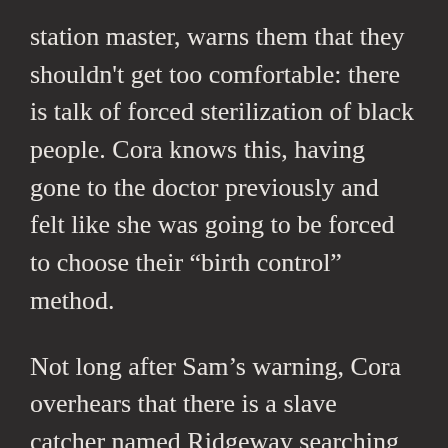station master, warns them that they shouldn't get too comfortable: there is talk of forced sterilization of black people. Cora knows this, having gone to the doctor previously and felt like she was going to be forced to choose their “birth control” method.
Not long after Sam’s warning, Cora overhears that there is a slave catcher named Ridgeway searching for a pair of runaways who murdered a boy. This scares her, as she knows who Ridgeway is: he’s a famous slave catcher who wasn’t able to catch her mother, and he has a vendetta against her because of it. She runs to Sam, who is at the bar, and he tells her to go hide in the house at the platform, and he’ll try to get to Caesar. However, before Sam